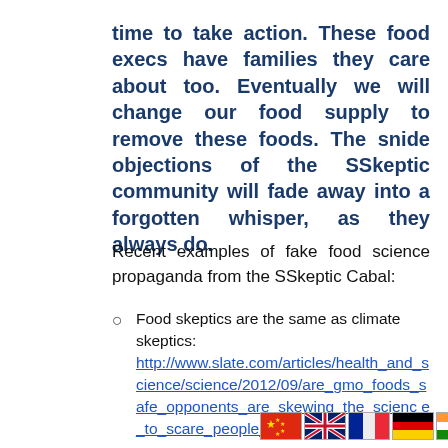time to take action. These food execs have families they care about too. Eventually we will change our food supply to remove these foods. The snide objections of the SSkeptic community will fade away into a forgotten whisper, as they always do.
Recent examples of fake food science propaganda from the SSkeptic Cabal:
Food skeptics are the same as climate skeptics: http://www.slate.com/articles/health_and_science/science/2012/09/are_gmo_foods_safe_opponents_are_skewing_the_science_to_scare_people_.html
Food concerns are only a political movement: